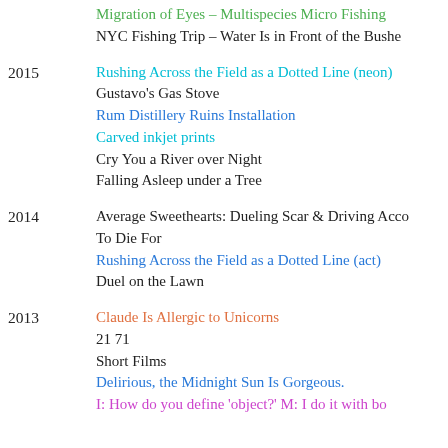Migration of Eyes – Multispecies Micro Fishing
NYC Fishing Trip – Water Is in Front of the Bushe
2015
Rushing Across the Field as a Dotted Line (neon)
Gustavo's Gas Stove
Rum Distillery Ruins Installation
Carved inkjet prints
Cry You a River over Night
Falling Asleep under a Tree
2014
Average Sweethearts: Dueling Scar & Driving Acco
To Die For
Rushing Across the Field as a Dotted Line (act)
Duel on the Lawn
2013
Claude Is Allergic to Unicorns
21 71
Short Films
Delirious, the Midnight Sun Is Gorgeous.
I: How do you define 'object?' M: I do it with bo